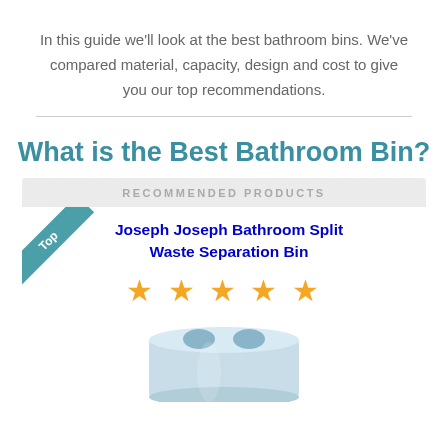In this guide we'll look at the best bathroom bins. We've compared material, capacity, design and cost to give you our top recommendations.
What is the Best Bathroom Bin?
RECOMMENDED PRODUCTS
Joseph Joseph Bathroom Split Waste Separation Bin
[Figure (other): Five gold star rating icons]
[Figure (photo): Joseph Joseph bathroom bin product image — a light blue cylindrical bin with two circular openings on top]